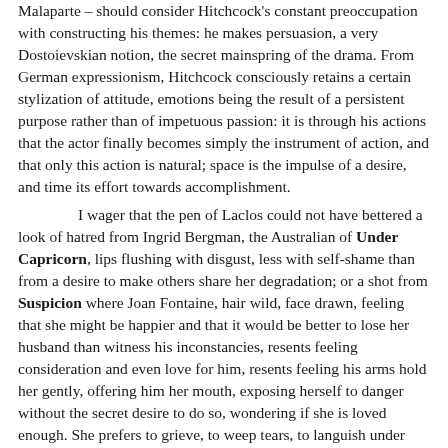Malaparte – should consider Hitchcock's constant preoccupation with constructing his themes: he makes persuasion, a very Dostoievskian notion, the secret mainspring of the drama. From German expressionism, Hitchcock consciously retains a certain stylization of attitude, emotions being the result of a persistent purpose rather than of impetuous passion: it is through his actions that the actor finally becomes simply the instrument of action, and that only this action is natural; space is the impulse of a desire, and time its effort towards accomplishment.

I wager that the pen of Laclos could not have bettered a look of hatred from Ingrid Bergman, the Australian of Under Capricorn, lips flushing with disgust, less with self-shame than from a desire to make others share her degradation; or a shot from Suspicion where Joan Fontaine, hair wild, face drawn, feeling that she might be happier and that it would be better to lose her husband than witness his inconstancies, resents feeling consideration and even love for him, resents feeling his arms hold her gently, offering him her mouth, exposing herself to danger without the secret desire to do so, wondering if she is loved enough. She prefers to grieve, to weep tears, to languish under offences